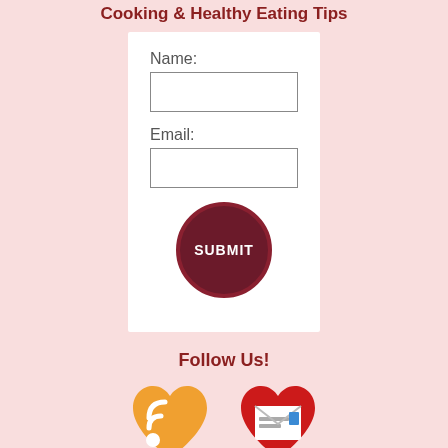Cooking & Healthy Eating Tips
[Figure (screenshot): A web form with Name and Email input fields and a dark red circular Submit button on a white card background]
Follow Us!
[Figure (illustration): Two social media icons: an orange RSS feed heart icon and a red email/newsletter heart icon]